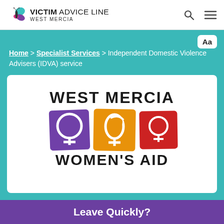VICTIM ADVICE LINE WEST MERCIA
Home > Specialist Services > Independent Domestic Violence Advisers (IDVA) service
[Figure (logo): West Mercia Women's Aid logo with three female gender symbols in purple, orange, and red squares, with text 'WEST MERCIA WOMEN'S AID']
Leave Quickly?